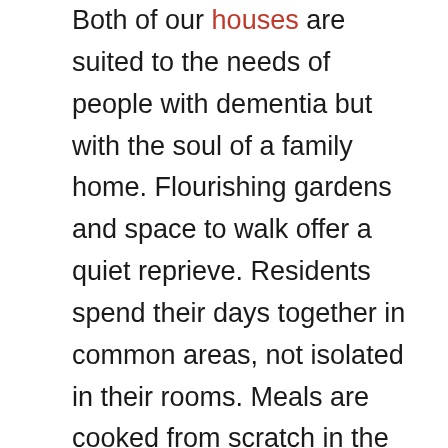Both of our houses are suited to the needs of people with dementia but with the soul of a family home. Flourishing gardens and space to walk offer a quiet reprieve. Residents spend their days together in common areas, not isolated in their rooms. Meals are cooked from scratch in the house – all the cues to make our residents feel at home.

Activities play a major role in our care. A board-certified music therapist, affectionately called the “Cruise Director” by many families, offers a balance of active and passive activities that are suited to the individual residents’ preferences. Outings, chapel services, nail